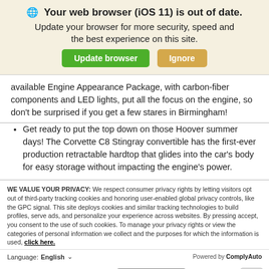🌐 Your web browser (iOS 11) is out of date. Update your browser for more security, speed and the best experience on this site.
available Engine Appearance Package, with carbon-fiber components and LED lights, put all the focus on the engine, so don't be surprised if you get a few stares in Birmingham!
Get ready to put the top down on those Hoover summer days! The Corvette C8 Stingray convertible has the first-ever production retractable hardtop that glides into the car's body for easy storage without impacting the engine's power.
WE VALUE YOUR PRIVACY: We respect consumer privacy rights by letting visitors opt out of third-party tracking cookies and honoring user-enabled global privacy controls, like the GPC signal. This site deploys cookies and similar tracking technologies to build profiles, serve ads, and personalize your experience across websites. By pressing accept, you consent to the use of such cookies. To manage your privacy rights or view the categories of personal information we collect and the purposes for which the information is used, click here.
Language: English ∨   Powered by ComplyAuto
Accept and Continue →   Privacy Policy   ×